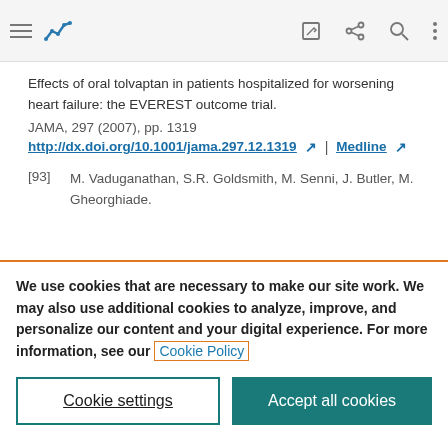Toolbar with navigation icons
Effects of oral tolvaptan in patients hospitalized for worsening heart failure: the EVEREST outcome trial.
JAMA, 297 (2007), pp. 1319
http://dx.doi.org/10.1001/jama.297.12.1319 | Medline
[93] M. Vaduganathan, S.R. Goldsmith, M. Senni, J. Butler, M. Gheorghiade.
We use cookies that are necessary to make our site work. We may also use additional cookies to analyze, improve, and personalize our content and your digital experience. For more information, see our Cookie Policy
Cookie settings | Accept all cookies